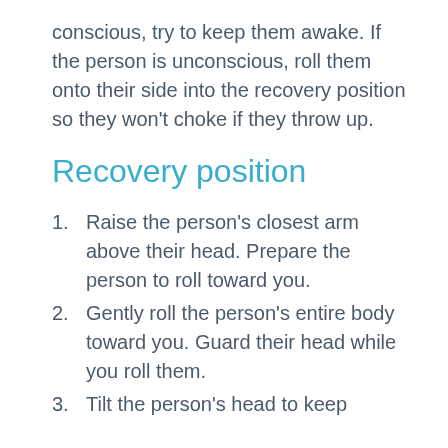conscious, try to keep them awake. If the person is unconscious, roll them onto their side into the recovery position so they won't choke if they throw up.
Recovery position
Raise the person's closest arm above their head. Prepare the person to roll toward you.
Gently roll the person's entire body toward you. Guard their head while you roll them.
Tilt the person's head to keep